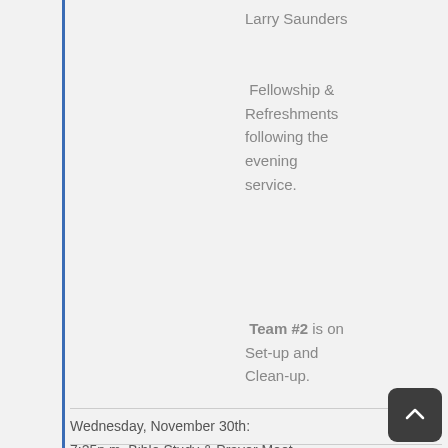Larry Saunders
Fellowship & Refreshments following the evening service.
Team #2 is on Set-up and Clean-up.
Wednesday, November 30th:
7:25p.m. Bible Study & Prayer Meet...
Thursday, December 1st: